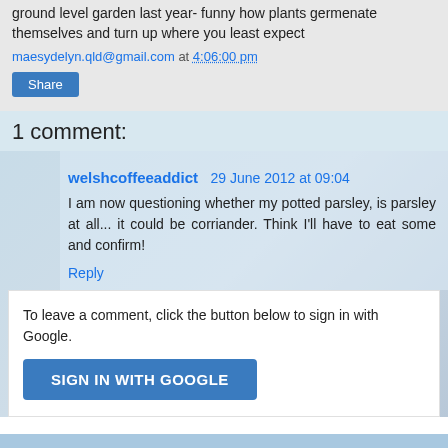ground level garden last year- funny how plants germenate themselves and turn up where you least expect
maesydelyn.qld@gmail.com at 4:06:00 pm
Share
1 comment:
welshcoffeeaddict 29 June 2012 at 09:04
I am now questioning whether my potted parsley, is parsley at all... it could be corriander. Think I'll have to eat some and confirm!
Reply
To leave a comment, click the button below to sign in with Google.
SIGN IN WITH GOOGLE